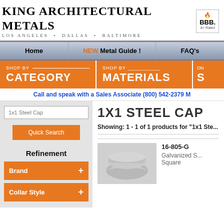King Architectural Metals — Los Angeles • Dallas • Baltimore
[Figure (logo): BBB A+ Rated badge logo]
Home | NEW Metal Guide ! | FAQ's
[Figure (infographic): SHOP BY CATEGORY orange button]
[Figure (infographic): SHOP BY MATERIALS orange button]
[Figure (infographic): ON... partial orange button]
Call and speak with a Sales Associate (800) 542-2379 M
1x1 Steel Cap (search box)
Quick Search
Refinement
Brand +
Collar Style +
1X1 STEEL CAP
Showing: 1 - 1 of 1 products for "1x1 Ste..."
[Figure (photo): Galvanized steel square post cap product image]
16-805-G
Galvanized S... Square